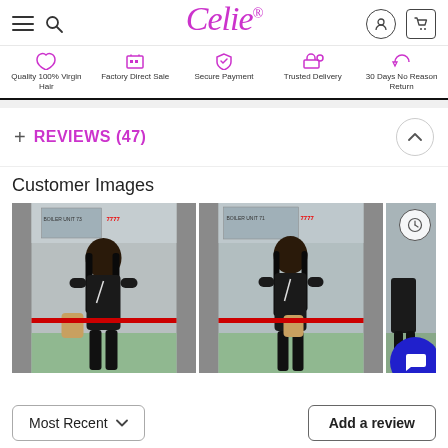Celie® — navigation header with hamburger, search, logo, account, cart icons
Quality 100% Virgin Hair | Factory Direct Sale | Secure Payment | Trusted Delivery | 30 Days No Reason Return
REVIEWS (47)
Customer Images
[Figure (photo): Three customer photos showing a woman with long straight black hair wearing a black outfit, standing outside a building with a boiler room sign and red barrier. The third image is partially visible.]
Most Recent ▼
Add a review